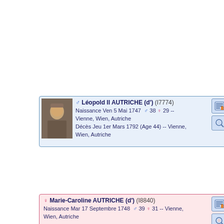[Figure (infographic): Genealogy card for Léopold II AUTRICHE (d') (I7774), male, born Ven 5 Mai 1747, age 38/29, Vienne, Wien, Autriche; died Jeu 1er Mars 1792 (Age 44) Vienne, Wien, Autriche. Blue-bordered card with portrait photo and action icons.]
1765 (F3391)
[Figure (infographic): Genealogy card for Marie- (de) (I7466), female, born Naples, Nap...; died Mar... Autriche. Pink-bordered card with portrait photo, partially visible.]
[Figure (infographic): Genealogy card for Marie-Caroline AUTRICHE (d') (I8840), female, born Mar 17 Septembre 1748, age 39/31, Vienne, Wien, Autriche. Pink-bordered card with action icons.]